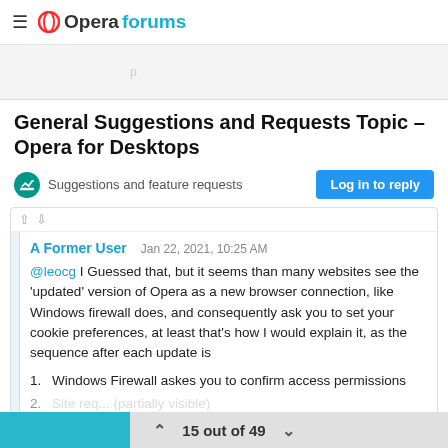Opera forums
General Suggestions and Requests Topic – Opera for Desktops
Suggestions and feature requests
Log in to reply
A Former User    Jan 22, 2021, 10:25 AM
@leocg I Guessed that, but it seems than many websites see the 'updated' version of Opera as a new browser connection, like Windows firewall does, and consequently ask you to set your cookie preferences, at least that's how I would explain it, as the sequence after each update is
1. Windows Firewall askes you to confirm access permissions
15 out of 49